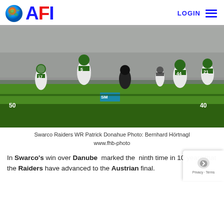AFI LOGIN
[Figure (photo): American football game action photo showing players in white uniforms (Swarco Raiders) running on a green field with a packed stadium crowd in the background. Players wearing numbers 17, 5, 44, 21 visible. A referee is also visible.]
Swarco Raiders WR Patrick Donahue Photo: Bernhard Hörtnagl www.fhb-photo
In Swarco's win over Danube  marked the  ninth time in 10 years that the Raiders have advanced to the Austrian final.